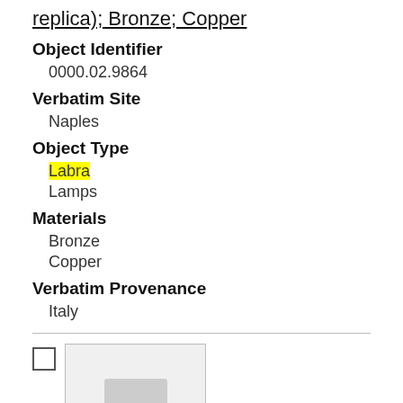replica); Bronze; Copper
Object Identifier
0000.02.9864
Verbatim Site
Naples
Object Type
Labra
Lamps
Materials
Bronze
Copper
Verbatim Provenance
Italy